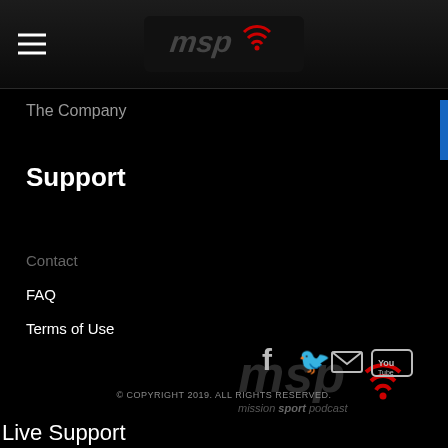MSP logo header with hamburger menu
The Company
Support
Contact
FAQ
Terms of Use
[Figure (logo): MSP Mission Sport Podcast logo in red and dark tones]
[Figure (infographic): Social media icons: Facebook, Twitter, Email, YouTube]
© COPYRIGHT 2019. ALL RIGHTS RESERVED.
Live Support